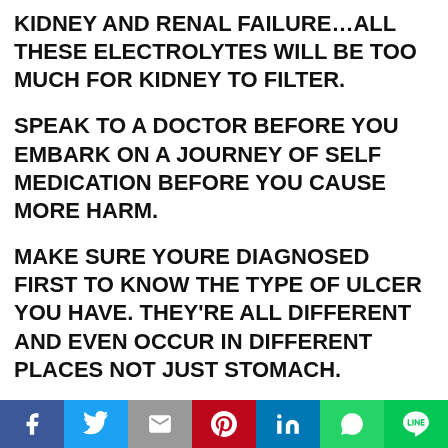⁠KIDNEY AND RENAL FAILURE…ALL THESE ELECTROLYTES WILL BE TOO MUCH FOR KIDNEY TO FILTER.
SPEAK TO A DOCTOR BEFORE YOU EMBARK ON A JOURNEY OF SELF MEDICATION BEFORE YOU CAUSE MORE HARM.
MAKE SURE YOURE DIAGNOSED FIRST TO KNOW THE TYPE OF ULCER YOU HAVE. THEY’RE ALL DIFFERENT AND EVEN OCCUR IN DIFFERENT PLACES NOT JUST STOMACH.
ALLOW DOCTOR PRESCRIBE THE ONE THATS
[Figure (infographic): Social sharing bar with icons for Facebook, Twitter, Gmail/Google, Pinterest, LinkedIn, WhatsApp, and LINE]